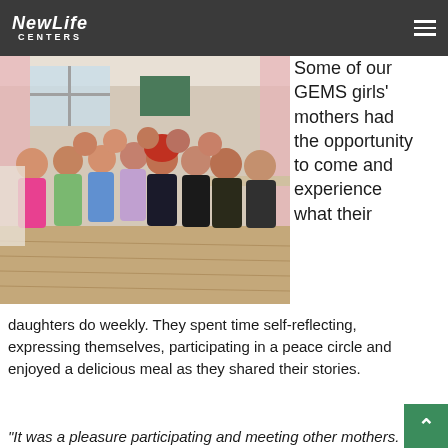New Life Centers
[Figure (photo): Group photo of approximately 15-16 women posing together indoors in a room with pink curtains and wood flooring. The women are smiling and some are making gestures. They are dressed in colorful summer clothing.]
Some of our GEMS girls' mothers had the opportunity to come and experience what their daughters do weekly. They spent time self-reflecting, expressing themselves, participating in a peace circle and enjoyed a delicious meal as they shared their stories.
“It was a pleasure participating and meeting other mothers. Thank you for sharing what